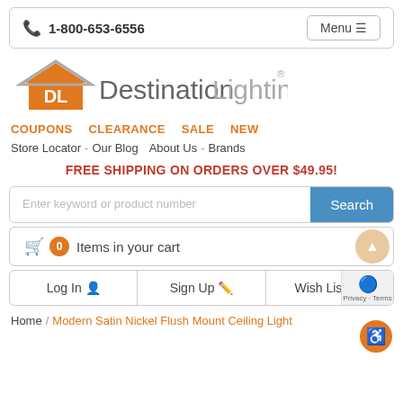1-800-653-6556  Menu
[Figure (logo): Destination Lighting logo with orange DL house icon and gray text]
COUPONS  CLEARANCE  SALE  NEW
Store Locator - Our Blog  About Us - Brands
FREE SHIPPING ON ORDERS OVER $49.95!
Enter keyword or product number  Search
0 Items in your cart
Log In   Sign Up   Wish List
Home / Modern Satin Nickel Flush Mount Ceiling Light